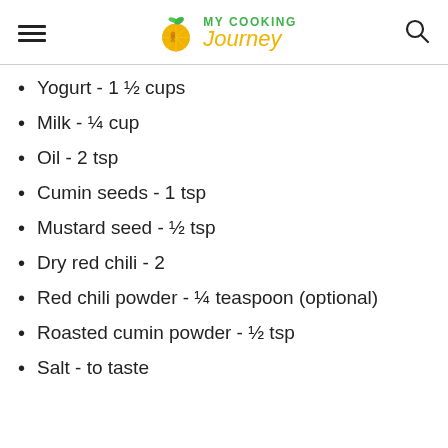MY COOKING Journey
Yogurt - 1 ½ cups
Milk - ¼ cup
Oil - 2 tsp
Cumin seeds - 1 tsp
Mustard seed - ½ tsp
Dry red chili - 2
Red chili powder - ¼ teaspoon (optional)
Roasted cumin powder - ½ tsp
Salt - to taste